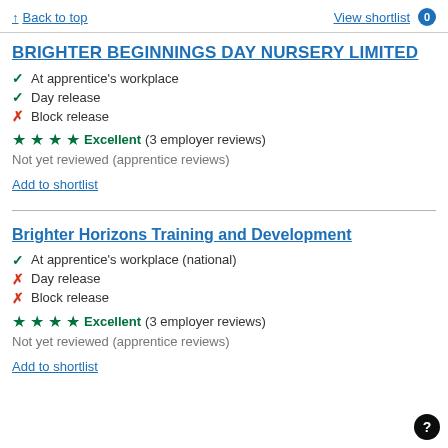↑ Back to top | View shortlist 0
BRIGHTER BEGINNINGS DAY NURSERY LIMITED
✓ At apprentice's workplace
✓ Day release
✗ Block release
★★★★ Excellent (3 employer reviews)
Not yet reviewed (apprentice reviews)
Add to shortlist
Brighter Horizons Training and Development
✓ At apprentice's workplace (national)
✗ Day release
✗ Block release
★★★★ Excellent (3 employer reviews)
Not yet reviewed (apprentice reviews)
Add to shortlist